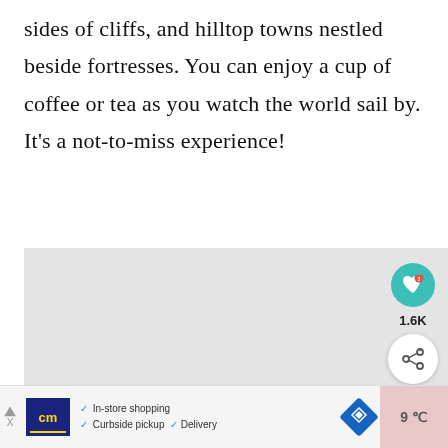sides of cliffs, and hilltop towns nestled beside fortresses. You can enjoy a cup of coffee or tea as you watch the world sail by. It’s a not-to-miss experience!
[Figure (photo): A photo placeholder (light gray rectangle) with social interaction UI: a teal heart button, a like count of 1.6K, and a share button. To the right a 'What’s Next' card showing a thumbnail and 'Southern England...' text, and a cursive 'Top' signature.]
[Figure (infographic): Advertisement bar at the bottom: left arrow/X navigation, 'cm' logo in dark blue, checkmarks for 'In-store shopping', 'Curbside pickup', 'Delivery', a blue diamond navigation icon, and a pink block on the right.]